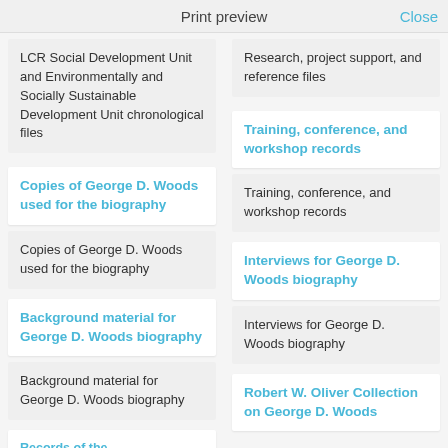Print preview   Close
LCR Social Development Unit and Environmentally and Socially Sustainable Development Unit chronological files
Research, project support, and reference files
Copies of George D. Woods used for the biography
Copies of George D. Woods used for the biography
Training, conference, and workshop records
Training, conference, and workshop records
Background material for George D. Woods biography
Background material for George D. Woods biography
Interviews for George D. Woods biography
Interviews for George D. Woods biography
Robert W. Oliver Collection on George D. Woods